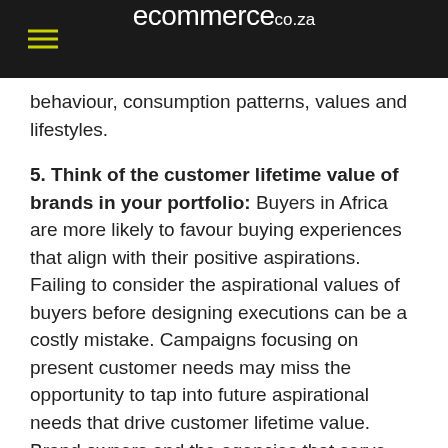ecommerce.co.za
behaviour, consumption patterns, values and lifestyles.
5. Think of the customer lifetime value of brands in your portfolio: Buyers in Africa are more likely to favour buying experiences that align with their positive aspirations. Failing to consider the aspirational values of buyers before designing executions can be a costly mistake. Campaigns focusing on present customer needs may miss the opportunity to tap into future aspirational needs that drive customer lifetime value. Brand owners and the agencies that serve them must understand the aspirational horizons of customers who will participate in experiential activities. Planning events that fall out of the horizon may produce unintended consequences.
Experiential marketing can deliver superior